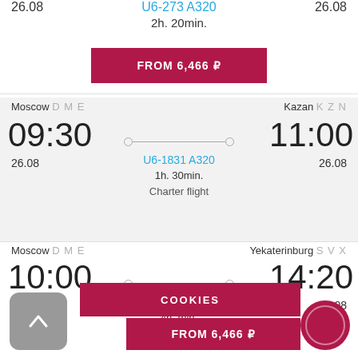26.08
U6-273 A320
2h. 20min.
26.08
FROM 6,466 ₽
Moscow DME
Kazan KZN
09:30
11:00
26.08
U6-1831 A320
1h. 30min.
26.08
Charter flight
Moscow DME
Yekaterinburg SVX
10:00
14:20
26.08
U6-261 A320
26.08
COOKIES
FROM 6,466 ₽